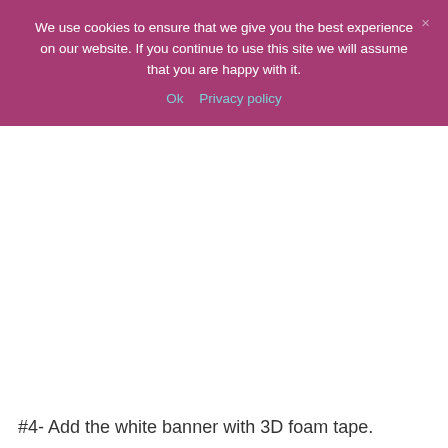We use cookies to ensure that we give you the best experience on our website. If you continue to use this site we will assume that you are happy with it.
Ok   Privacy policy
[Figure (other): Large white blank area, likely where an image was not loaded]
#4- Add the white banner with 3D foam tape.